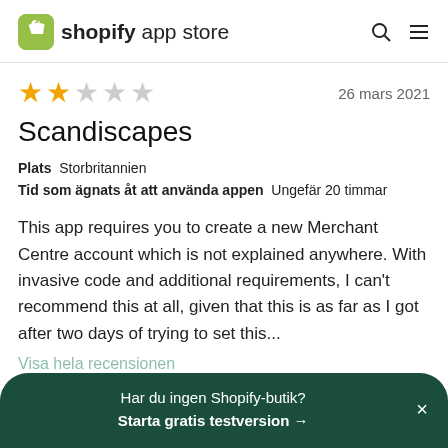shopify app store
[Figure (other): Star rating showing 2 out of 5 stars (2 filled gold, 3 empty grey)]
26 mars 2021
Scandiscapes
Plats  Storbritannien
Tid som ägnats åt att använda appen  Ungefär 20 timmar
This app requires you to create a new Merchant Centre account which is not explained anywhere. With invasive code and additional requirements, I can't recommend this at all, given that this is as far as I got after two days of trying to set this...
Visa hela recensionen
Har du ingen Shopify-butik?
Starta gratis testversion →